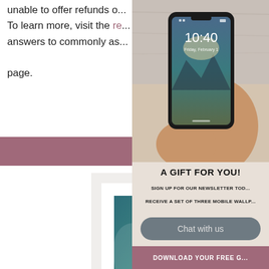unable to offer refunds o...
To learn more, visit the re...
answers to commonly as...
page.
Different R...
[Figure (photo): A framed art print showing an abstract teal/blue painting on white marble background]
[Figure (photo): A hand holding a smartphone showing a lock screen with time 10:40]
A GIFT FOR YOU!
SIGN UP FOR OUR NEWSLETTER TOD...
RECEIVE A SET OF THREE MOBILE WALLP...
Chat with us
DOWNLOAD YOUR FREE G...